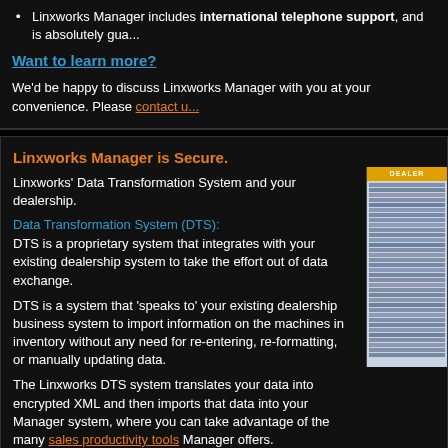Linxworks Manager includes international telephone support, and is absolutely gua...
Want to learn more?
We'd be happy to discuss Linxworks Manager with you at your convenience. Please contact u...
Linxworks Manager is Secure.
Linxworks' Data Transformation System and your dealership.
Data Transformation System (DTS):
DTS is a proprietary system that integrates with your existing dealership system to take the effort out of data exchange.
DTS is a system that 'speaks to' your existing dealership business system to import information on the machines in inventory without any need for re-entering, re-formatting, or manually updating data.
The Linxworks DTS system translates your data into encrypted XML and then imports that data into your Manager system, where you can take advantage of the many sales productivity tools Manager offers.
DTS can also be configured so units are automatically sent to the UsedIron.com marketplace website, for effortless, immediate advertising.
Linxworks Manager and its proprietary DTS™ system are not only automated; they are also in...
World-class datacenter and application server running in reliable and scalable cluste... firewalls
24/7 system monitoring
Daily offsite data backup...